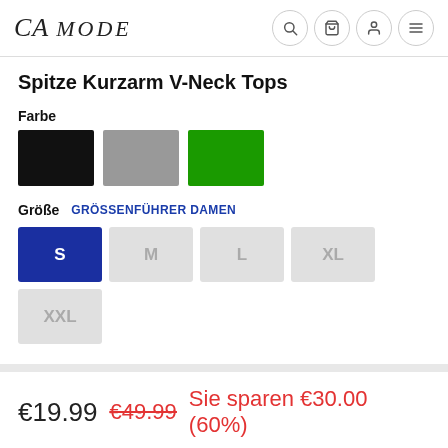CA MODE
Spitze Kurzarm V-Neck Tops
Farbe
[Figure (other): Three color swatches: black, gray, green]
Größe   GRÖSSENFÜHRER DAMEN
Size buttons: S (selected), M, L, XL, XXL
€19.99  €49.99  Sie sparen €30.00 (60%)